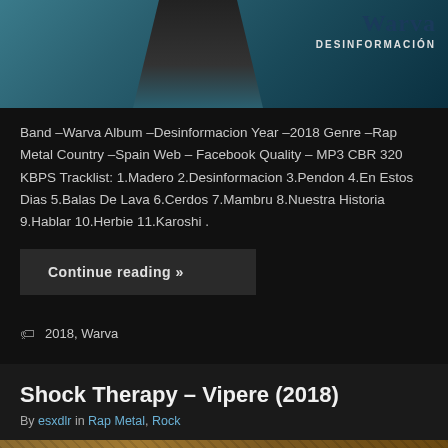[Figure (photo): Album art for Warva – Desinformacion. Dark background with figure in suit and teal/blue tones. Album title 'Warva' and 'DESINFORMACIÓN' shown in upper right.]
Band –Warva Album –Desinformacion Year –2018 Genre –Rap Metal Country –Spain Web – Facebook Quality – MP3 CBR 320 KBPS Tracklist: 1.Madero 2.Desinformacion 3.Pendon 4.En Estos Dias 5.Balas De Lava 6.Cerdos 7.Mambru 8.Nuestra Historia 9.Hablar 10.Herbie 11.Karoshi .
Continue reading »
2018, Warva
Shock Therapy – Vipere (2018)
By esxdlr in Rap Metal, Rock
[Figure (photo): Partial album art image at bottom of page, brownish/golden tones, cropped.]